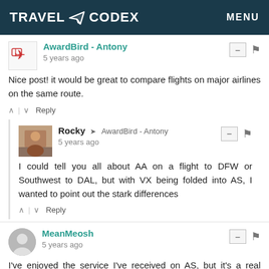TRAVEL CODEX   MENU
AwardBird - Antony
5 years ago
Nice post! it would be great to compare flights on major airlines on the same route.
Rocky → AwardBird - Antony
5 years ago
I could tell you all about AA on a flight to DFW or Southwest to DAL, but with VX being folded into AS, I wanted to point out the stark differences
MeanMeosh
5 years ago
I've enjoyed the service I've received on AS, but it's a real bummer that the VX planes are going to be retired. Both MCS and F on VX beat what AS has to offer in those segments. On the flip side, I'm grateful that AS seems committed to Dallas.